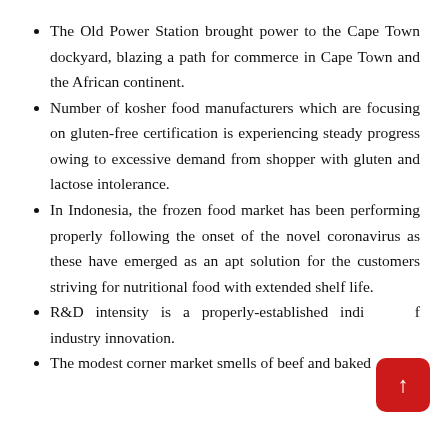The Old Power Station brought power to the Cape Town dockyard, blazing a path for commerce in Cape Town and the African continent.
Number of kosher food manufacturers which are focusing on gluten-free certification is experiencing steady progress owing to excessive demand from shopper with gluten and lactose intolerance.
In Indonesia, the frozen food market has been performing properly following the onset of the novel coronavirus as these have emerged as an apt solution for the customers striving for nutritional food with extended shelf life.
R&D intensity is a properly-established indicator of industry innovation.
The modest corner market smells of beef and baked...